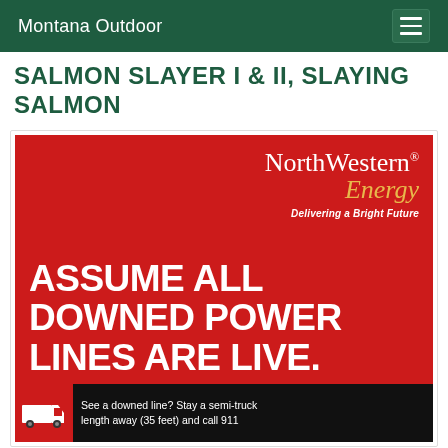Montana Outdoor
SALMON SLAYER I & II, SLAYING SALMON
[Figure (infographic): NorthWestern Energy advertisement on red background. Logo in top right with 'NorthWestern Energy - Delivering a Bright Future'. Large white bold text reads 'ASSUME ALL DOWNED POWER LINES ARE LIVE.' Bottom black bar shows truck icon and text 'See a downed line? Stay a semi-truck length away (35 feet) and call 911']